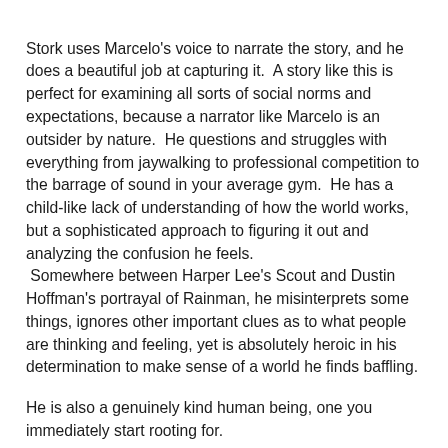Stork uses Marcelo's voice to narrate the story, and he does a beautiful job at capturing it.  A story like this is perfect for examining all sorts of social norms and expectations, because a narrator like Marcelo is an outsider by nature.  He questions and struggles with everything from jaywalking to professional competition to the barrage of sound in your average gym.  He has a child-like lack of understanding of how the world works, but a sophisticated approach to figuring it out and analyzing the confusion he feels.  Somewhere between Harper Lee's Scout and Dustin Hoffman's portrayal of Rainman, he misinterprets some things, ignores other important clues as to what people are thinking and feeling, yet is absolutely heroic in his determination to make sense of a world he finds baffling.
He is also a genuinely kind human being, one you immediately start rooting for.
The book starts with his father attempting to make him work in the mail room AND sign up for public high school for his upcoming senior year, both of which horrify Marcelo, who